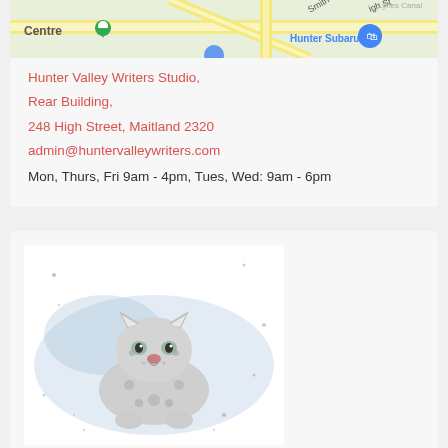[Figure (map): Google Maps screenshot showing area near Hunter Valley Writers Studio, with streets, a green location pin, and Hunter Subaru visible]
Hunter Valley Writers Studio,
Rear Building,
248 High Street, Maitland 2320
admin@huntervalleywriters.com
Mon, Thurs, Fri 9am - 4pm, Tues, Wed: 9am - 6pm
[Figure (illustration): Artistic illustration of a snow leopard cub, black and white with blue accents, splatter paint style]
Young Authors Club